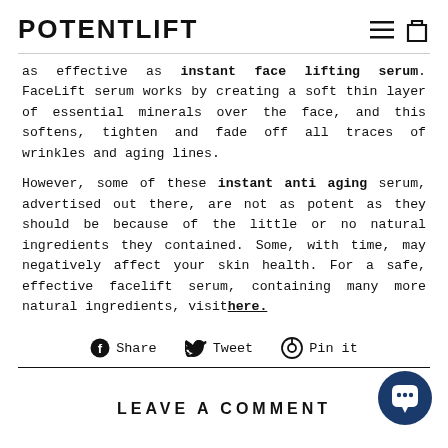POTENTLIFT
as effective as instant face lifting serum. FaceLift serum works by creating a soft thin layer of essential minerals over the face, and this softens, tighten and fade off all traces of wrinkles and aging lines.
However, some of these instant anti aging serum, advertised out there, are not as potent as they should be because of the little or no natural ingredients they contained. Some, with time, may negatively affect your skin health. For a safe, effective facelift serum, containing many more natural ingredients, visit here.
Share  Tweet  Pin it
LEAVE A COMMENT